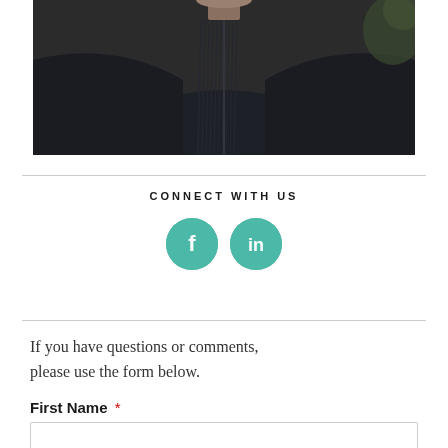[Figure (photo): Portrait photo of a person wearing a dark navy/black blazer or jacket, photographed from the chest up against a blurred outdoor background.]
CONNECT WITH US
[Figure (infographic): Two teal/green circular social media icons: Facebook (f) and LinkedIn (in)]
If you have questions or comments, please use the form below.
First Name *